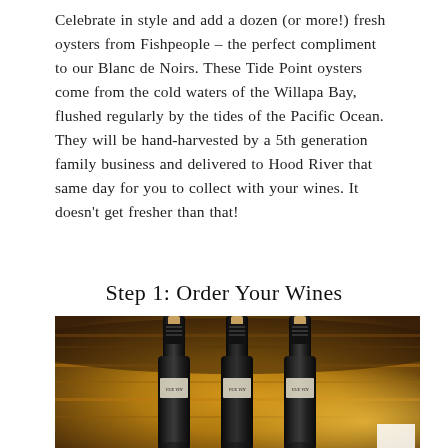Celebrate in style and add a dozen (or more!) fresh oysters from Fishpeople – the perfect compliment to our Blanc de Noirs. These Tide Point oysters come from the cold waters of the Willapa Bay, flushed regularly by the tides of the Pacific Ocean. They will be hand-harvested by a 5th generation family business and delivered to Hood River that same day for you to collect with your wines. It doesn't get fresher than that!
Step 1: Order Your Wines
[Figure (photo): Three dark wine bottles with corks and foil capsules standing in front of a wooden barrel, photographed from the front in warm amber light. Labels read 'VUE VIN' or similar.]